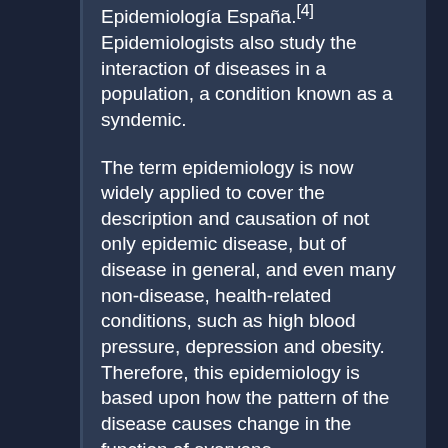Epidemiología España.[4] Epidemiologists also study the interaction of diseases in a population, a condition known as a syndemic.
The term epidemiology is now widely applied to cover the description and causation of not only epidemic disease, but of disease in general, and even many non-disease, health-related conditions, such as high blood pressure, depression and obesity. Therefore, this epidemiology is based upon how the pattern of the disease causes change in the function of everyone.
Epidemiologists employ a range of study designs from the observational to experimental and generally categorized as descriptive, analytic (aiming to further examine known...